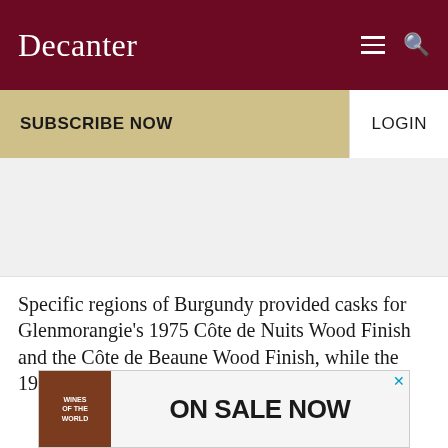Decanter
SUBSCRIBE NOW
LOGIN
[Figure (other): Grey placeholder advertisement area]
Specific regions of Burgundy provided casks for Glenmorangie’s 1975 Côte de Nuits Wood Finish and the Côte de Beaune Wood Finish, while the 1981
[Figure (other): Bottom banner advertisement: book image on left with text WINES OF THE WORLD, and ON SALE NOW text on right with close button]